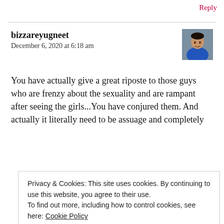Reply
bizzareyugneet
December 6, 2020 at 6:18 am
[Figure (photo): Small avatar/profile photo of a young man in a blue shirt]
You have actually give a great riposte to those guys who are frenzy about the sexuality and are rampant after seeing the girls...You have conjured them. And actually it literally need to be assuage and completely
Privacy & Cookies: This site uses cookies. By continuing to use this website, you agree to their use.
To find out more, including how to control cookies, see here: Cookie Policy
Close and accept
Reply